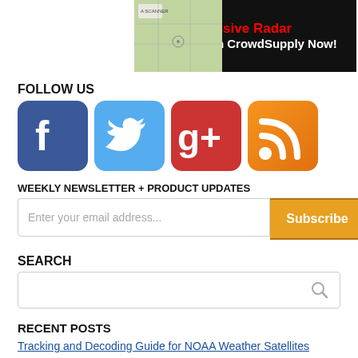[Figure (screenshot): Banner advertisement for Passive Radar available on CrowdSupply Now, showing map imagery on left and dark background on right with red and white text]
FOLLOW US
[Figure (infographic): Four social media icons: Facebook (blue), Twitter (light blue), Google+ (red), RSS feed (orange)]
WEEKLY NEWSLETTER + PRODUCT UPDATES
[Figure (screenshot): Email subscription form with text field placeholder 'Enter your email address...' and orange Subscribe button]
SEARCH
[Figure (screenshot): Search input box with magnifying glass icon on right]
RECENT POSTS
Tracking and Decoding Guide for NOAA Weather Satellites
Using RTL-SDR to Detect Weak Vibrations in Nanomechanical Resonators Based on Graphene Drums